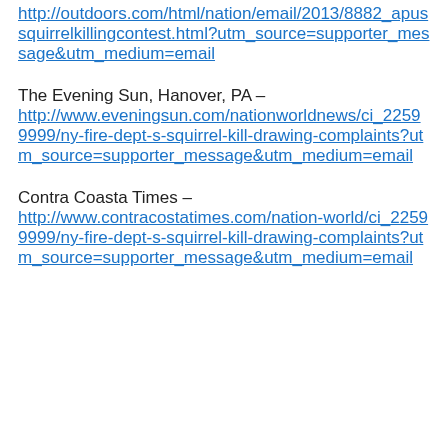http://outdoors.com/html/nation/email/2013/8882_apussquirrelkillingcontest.html?utm_source=supporter_message&utm_medium=email
The Evening Sun, Hanover, PA – http://www.eveningsun.com/nationworldnews/ci_22599999/ny-fire-dept-s-squirrel-kill-drawing-complaints?utm_source=supporter_message&utm_medium=email
Contra Coasta Times – http://www.contracostatimes.com/nation-world/ci_22599999/ny-fire-dept-s-squirrel-kill-drawing-complaints?utm_source=supporter_message&utm_medium=email